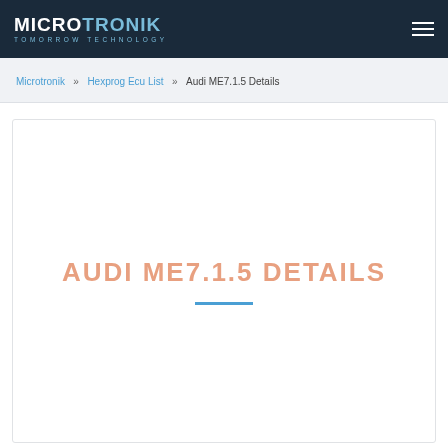MICROTRONIK Tomorrow Technology
Microtronik » Hexprog Ecu List » Audi ME7.1.5 Details
AUDI ME7.1.5 DETAILS